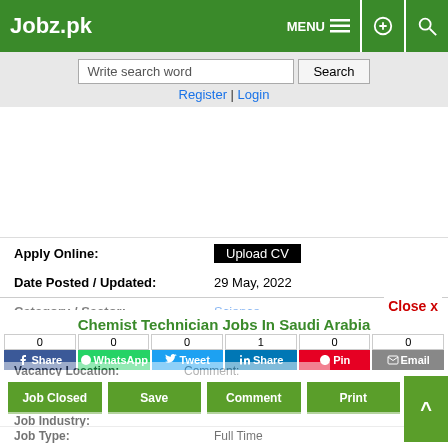Jobz.pk | MENU | settings | search
Write search word | Search | Register | Login
[Figure (other): Advertisement area (blank white space)]
Apply Online: Upload CV
Date Posted / Updated: 29 May, 2022
Category / Sector: Science (partial, overlaid)
Chemist Technician Jobs In Saudi Arabia
Share counts: 0, 0, 0, 1, 0, 0
Share buttons: Share, WhatsApp, Tweet, Share, Pin, Email
Vacancy Location: (partial)  Comment: (partial)  Pakistan (partial)
Job Closed | Save | Comment | Print
Job Industry: (partial)  Job Type: Full Time (partial)